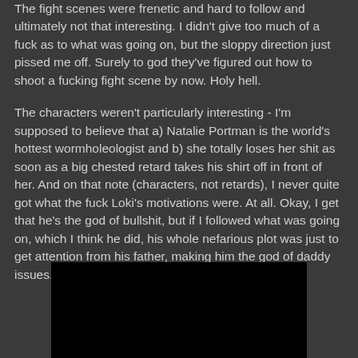The fight scenes were frenetic and hard to follow and ultimately not that interesting. I didn't give too much of a fuck as to what was going on, but the sloppy direction just pissed me off. Surely to god they've figured out how to shoot a fucking fight scene by now. Holy hell.
The characters weren't particularly interesting - I'm supposed to believe that a) Natalie Portman is the world's hottest wormholeologist and b) she totally loses her shit as soon as a big chested retard takes his shirt off in front of her. And on that note (characters, not retards), I never quite got what the fuck Loki's motivations were. At all. Okay, I get that he's the god of bullshit, but if I followed what was going on, which I think he did, his whole nefarious plot was just to get attention from his father, making him the god of daddy issues. He had a pretty cool hat, I'll grant him that.
[Figure (photo): A black rectangular image area, appearing to be a dark/black photo or video frame.]